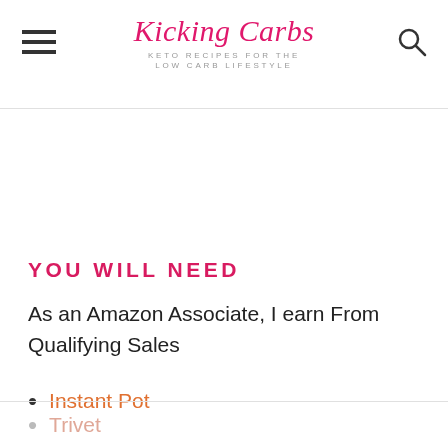Kicking Carbs — KETO RECIPES FOR THE LOW CARB LIFESTYLE
YOU WILL NEED
As an Amazon Associate, I earn From Qualifying Sales
Instant Pot
Trivet